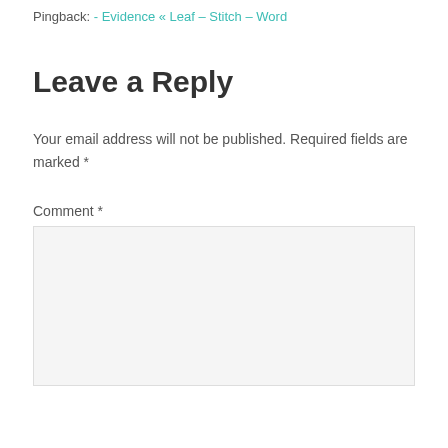Pingback: - Evidence « Leaf – Stitch – Word
Leave a Reply
Your email address will not be published. Required fields are marked *
Comment *